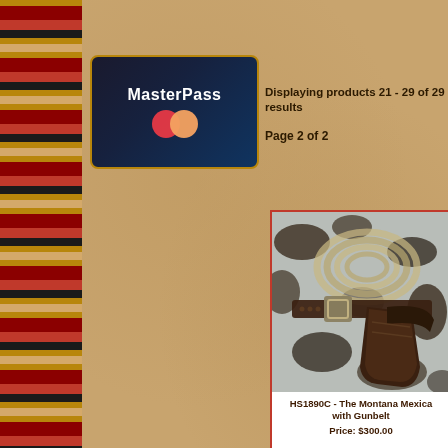[Figure (photo): MasterPass payment logo card - dark blue/black background with MasterPass text and overlapping red and orange circles]
Displaying products 21 - 29 of 29 results
Page 2 of 2
[Figure (photo): Photo of a western leather holster and gunbelt with rope lasso on cowhide background]
HS1890C - The Montana Mexican with Gunbelt
Price: $300.00